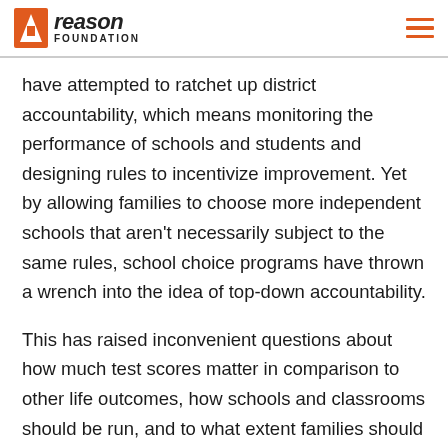reason FOUNDATION
have attempted to ratchet up district accountability, which means monitoring the performance of schools and students and designing rules to incentivize improvement. Yet by allowing families to choose more independent schools that aren't necessarily subject to the same rules, school choice programs have thrown a wrench into the idea of top-down accountability.
This has raised inconvenient questions about how much test scores matter in comparison to other life outcomes, how schools and classrooms should be run, and to what extent families should be allowed to decide what's best for their own children. School